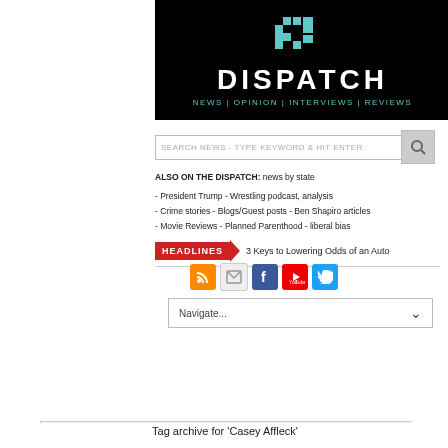[Figure (logo): Dispatch news website logo: black background with teal pixelated D icon, DISPATCH in white bold letters, NEWS | OPINION | INTERVIEWS | REVIEWS in teal below]
SEARCH NEWS - TYPE KEYWORD & HIT ENTER
ALSO ON THE DISPATCH: news by state
- President Trump - Wrestling podcast, analysis
- Crime stories - Blogs/Guest posts - Ben Shapiro articles
- Movie Reviews - Planned Parenthood - liberal bias
HEADLINES  3 Keys to Lowering Odds of an Auto
[Figure (infographic): Social media icons: RSS (orange), Email (grey), Facebook (blue), YouTube (red), Twitter (blue)]
Navigate...
Tag archive for 'Casey Affleck'